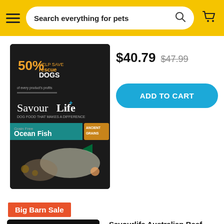Search everything for pets
[Figure (photo): SavourLife dog food bag - Ocean Fish with Ancient Grains, black packaging, 50% help save rescue dogs, grain free]
$40.79  $47.99
ADD TO CART
Big Barn Sale
Savourlife Australian Beef Strips Dog Treat 165g
[Figure (photo): SavourLife dog treats bag - black packaging, 50% help save rescue dogs]
$14.99
$10 each when you buy 2